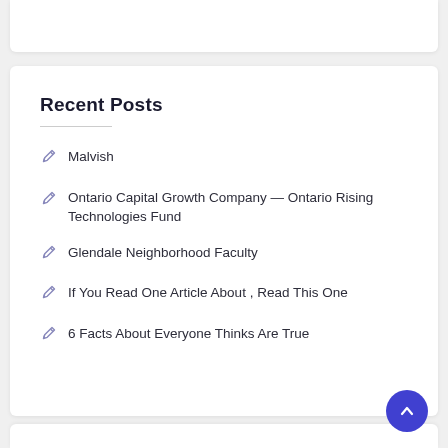Recent Posts
Malvish
Ontario Capital Growth Company — Ontario Rising Technologies Fund
Glendale Neighborhood Faculty
If You Read One Article About , Read This One
6 Facts About Everyone Thinks Are True